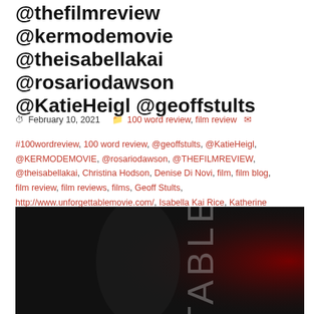@thefilmreview @kermodemovie @theisabellakai @rosariodawson @KatieHeigl @geoffstults
February 10, 2021   100 word review, film review
#100wordreview, 100 word review, @geoffstults, @KatieHeigl, @KERMODEMOVIE, @rosariodawson, @THEFILMREVIEW, @theisabellakai, Christina Hodson, Denise Di Novi, film, film blog, film review, film reviews, films, Geoff Stults, http://www.unforgettablemovie.com/, Isabella Kai Rice, Katherine Heigl, movie, movie blog, movie review, movie reviews, movies, Netflix, Rosario Dawson, Total Film, Unforgettable (2017)
[Figure (photo): Dark movie poster image for 'Unforgettable' showing partial text 'TABLE' in light gray letters on a near-black background, with a red/dark red glowing shape on the right side suggesting a silhouette or dramatic lighting.]